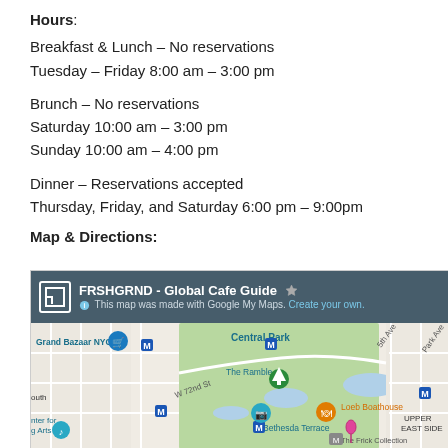Hours:
Breakfast & Lunch – No reservations
Tuesday – Friday 8:00 am – 3:00 pm
Brunch – No reservations
Saturday 10:00 am – 3:00 pm
Sunday 10:00 am – 4:00 pm
Dinner – Reservations accepted
Thursday, Friday, and Saturday 6:00 pm – 9:00pm
Map & Directions:
[Figure (map): Google My Maps embed showing Central Park area in NYC. Shows Grand Bazaar NYC, The Ramble, Bethesda Terrace, Loeb Boathouse, Upper East Side, The Frick Collection, and other NYC landmarks. Map header reads: FRSHGRND - Global Cafe Guide. This map was made with Google My Maps. Create your own.]